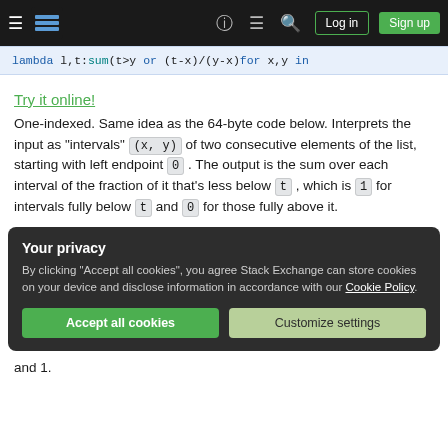Navigation bar with hamburger, logo, help, chat, search icons, Log in and Sign up buttons
lambda l,t:sum(t>y or (t-x)/(y-x)for x,y in
Try it online!
One-indexed. Same idea as the 64-byte code below. Interprets the input as "intervals" (x, y) of two consecutive elements of the list, starting with left endpoint 0 . The output is the sum over each interval of the fraction of it that's less below t , which is 1 for intervals fully below t and 0 for those fully above it.
Your privacy
By clicking "Accept all cookies", you agree Stack Exchange can store cookies on your device and disclose information in accordance with our Cookie Policy.
Accept all cookies  Customize settings
and 1.